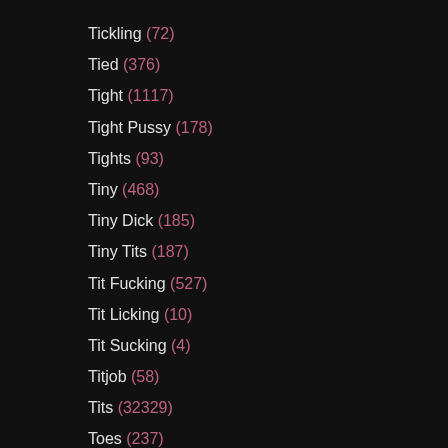Tickling (72)
Tied (376)
Tight (1117)
Tight Pussy (178)
Tights (93)
Tiny (468)
Tiny Dick (185)
Tiny Tits (187)
Tit Fucking (527)
Tit Licking (10)
Tit Sucking (4)
Titjob (58)
Tits (32329)
Toes (237)
Toilet (129)